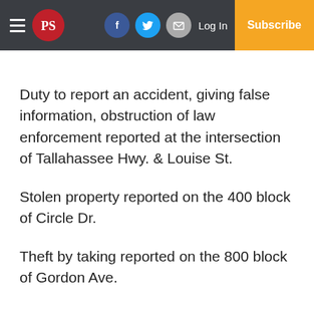PS [logo] | Facebook | Twitter | Email | Log In | Subscribe
Duty to report an accident, giving false information, obstruction of law enforcement reported at the intersection of Tallahassee Hwy. & Louise St.
Stolen property reported on the 400 block of Circle Dr.
Theft by taking reported on the 800 block of Gordon Ave.